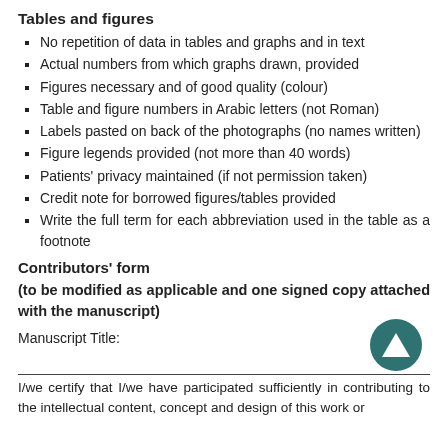Tables and figures
No repetition of data in tables and graphs and in text
Actual numbers from which graphs drawn, provided
Figures necessary and of good quality (colour)
Table and figure numbers in Arabic letters (not Roman)
Labels pasted on back of the photographs (no names written)
Figure legends provided (not more than 40 words)
Patients' privacy maintained (if not permission taken)
Credit note for borrowed figures/tables provided
Write the full term for each abbreviation used in the table as a footnote
Contributors' form
(to be modified as applicable and one signed copy attached with the manuscript)
Manuscript Title:
I/we certify that I/we have participated sufficiently in contributing to the intellectual content, concept and design of this work or